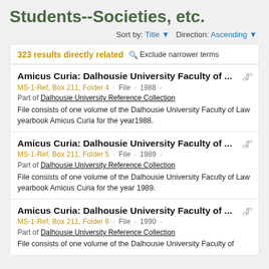Students--Societies, etc.
Sort by: Title ▼  Direction: Ascending ▼
323 results directly related  🔍 Exclude narrower terms
Amicus Curia: Dalhousie University Faculty of ...
MS-1-Ref, Box 211, Folder 4 · File · 1988 ·
Part of Dalhousie University Reference Collection
File consists of one volume of the Dalhousie University Faculty of Law yearbook Amicus Curia for the year1988.
Amicus Curia: Dalhousie University Faculty of ...
MS-1-Ref, Box 211, Folder 5 · File · 1989 ·
Part of Dalhousie University Reference Collection
File consists of one volume of the Dalhousie University Faculty of Law yearbook Amicus Curia for the year 1989.
Amicus Curia: Dalhousie University Faculty of ...
MS-1-Ref, Box 211, Folder 6 · File · 1990 ·
Part of Dalhousie University Reference Collection
File consists of one volume of the Dalhousie University Faculty of